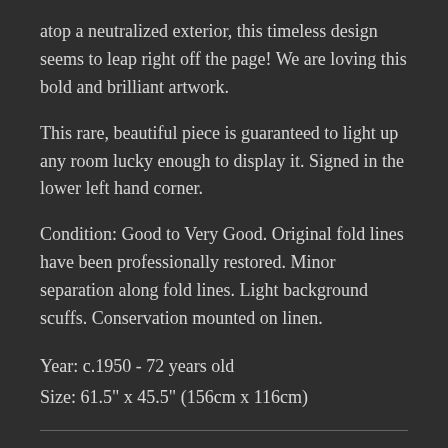atop a neutralized exterior, this timeless design seems to leap right off the page! We are loving this bold and brilliant artwork.
This rare, beautiful piece is guaranteed to light up any room lucky enough to display it. Signed in the lower left hand corner.
Condition: Good to Very Good. Original fold lines have been professionally restored. Minor separation along fold lines. Light background scuffs. Conservation mounted on linen.
Year: c.1950 - 72 years old
Size: 61.5" x 45.5" (156cm x 116cm)